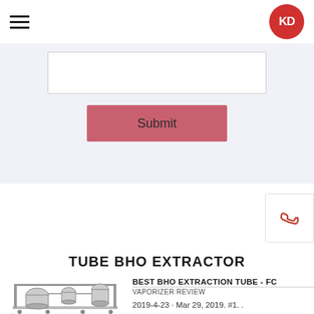KD logo with hamburger menu
[Figure (screenshot): Textarea input field and Submit button on a light blue-grey form background]
[Figure (other): Phone icon widget on the right side]
TUBE BHO EXTRACTOR
[Figure (photo): Photo of a stainless steel BHO tube extractor machine with CE mark]
BEST BHO EXTRACTION TUBE - FC VAPORIZER REVIEW
2019-4-23 · Mar 29, 2019. #1. . I"ve been running my BHO out of 5/8" copper tubing for years and I want to switch to a stainless